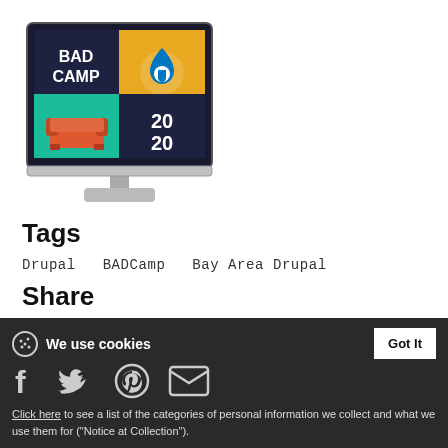[Figure (illustration): Illustration of a desktop computer monitor showing BADCamp 2020 logo with four colored quadrants: dark blue with 'BAD CAMP' text, yellow/orange with Drupal droplet logo, teal with a sofa icon, and dark blue with '2020' text. Monitor is shown on a grey stand.]
Tags
Drupal   BADCamp   Bay Area Drupal
Share
We use cookies
Click here to see a list of the categories of personal information we collect and what we use them for ("Notice at Collection").
Privacy Policy
Do Not Sell My Personal Information
By using this website, I agree to the Terms and Conditions